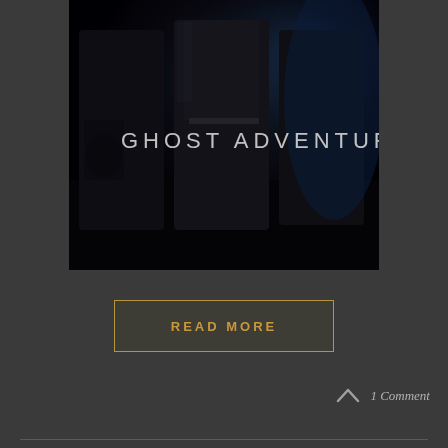[Figure (photo): Ghost Adventures TV show promotional image showing three people dressed in black standing in a dark, atmospheric setting. The text 'GHOST ADVENTURES' is overlaid on the image in a stylized white/silver font.]
READ MORE
1 Comment